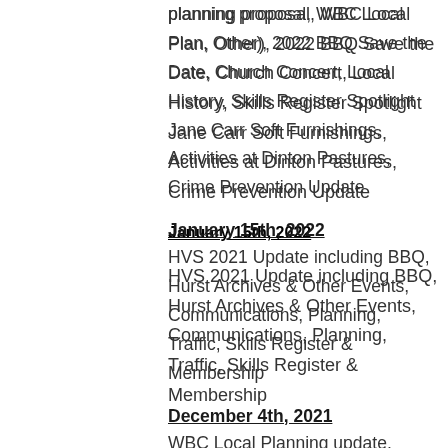planning proposal, WBC Local Plan, Other), 2022 BBQ Save the Date, Church Concert, Local History, Skills Register Spotlight Jane Carr Soft Furnishings, Activities at Dinton Pastures, Crime Prevention Update
January 15th, 2022
HVS 2021 Update including BBQ, Hurst Archives & Other Events, Communications, Planning, Traffic, Skills Register & Membership
December 4th, 2021
WBC Local Planning update, Hurst Planning Updates; Broadcommon Road, East of Lodge Road, St Nicholas Christmas Fayre, Christmas Lights &